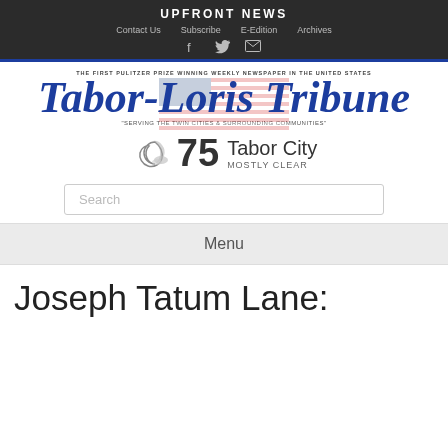UPFRONT NEWS
Contact Us   Subscribe   E-Edition   Archives
[Figure (logo): Tabor-Loris Tribune newspaper logo with Pulitzer Prize tagline and American flag watermark]
75 Tabor City MOSTLY CLEAR
Search
Menu
Joseph Tatum Lane: